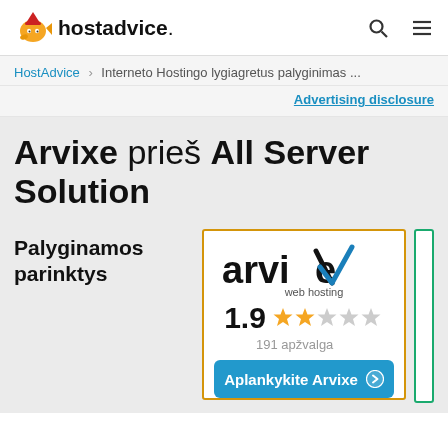hostadvice.
HostAdvice > Interneto Hostingo lygiagretus palyginimas ...
Advertising disclosure
Arvixe prieš All Server Solution
Palyginamos parinktys
[Figure (logo): Arvixe web hosting logo with rating 1.9 stars and 191 reviews, and a Visit Arvixe button]
191 apžvalga
Aplankykite Arvixe →